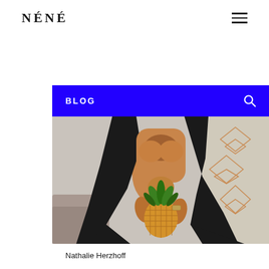NÉNÉ
BLOG
[Figure (photo): Woman in a black open robe holding a pineapple against her body, standing in front of a wall with geometric copper/rose gold diamond decorations]
Nathalie Herzhoff